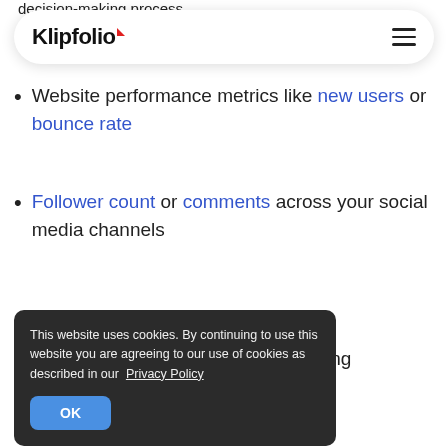decision-making process.
[Figure (screenshot): Klipfolio website navigation bar with logo and hamburger menu]
Website performance metrics like new users or bounce rate
Follower count or comments across your social media channels
...the ...dvertising
This website uses cookies. By continuing to use this website you are agreeing to our use of cookies as described in our Privacy Policy